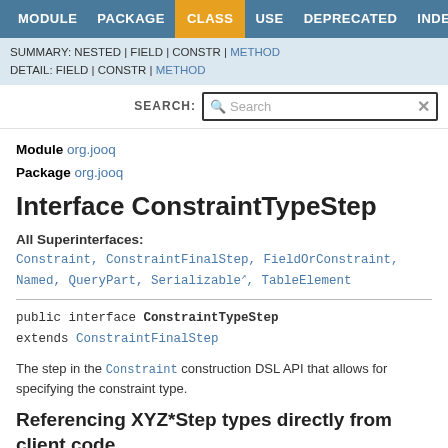MODULE  PACKAGE  CLASS  USE  DEPRECATED  INDEX  HELP
SUMMARY: NESTED | FIELD | CONSTR | METHOD
DETAIL: FIELD | CONSTR | METHOD
SEARCH: [Search box]
Module org.jooq
Package org.jooq
Interface ConstraintTypeStep
All Superinterfaces:
Constraint, ConstraintFinalStep, FieldOrConstraint, Named, QueryPart, Serializable, TableElement
public interface ConstraintTypeStep
extends ConstraintFinalStep
The step in the Constraint construction DSL API that allows for specifying the constraint type.
Referencing XYZ*Step types directly from client code